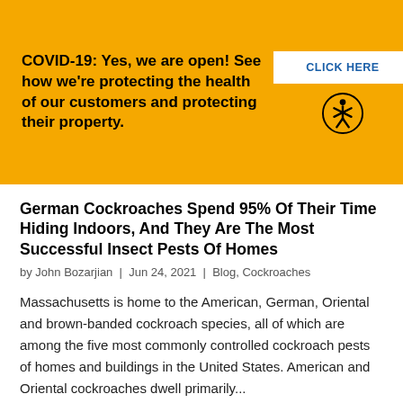COVID-19: Yes, we are open! See how we're protecting the health of our customers and protecting their property.
CLICK HERE
German Cockroaches Spend 95% Of Their Time Hiding Indoors, And They Are The Most Successful Insect Pests Of Homes
by John Bozarjian  |  Jun 24, 2021  |  Blog, Cockroaches
Massachusetts is home to the American, German, Oriental and brown-banded cockroach species, all of which are among the five most commonly controlled cockroach pests of homes and buildings in the United States. American and Oriental cockroaches dwell primarily...